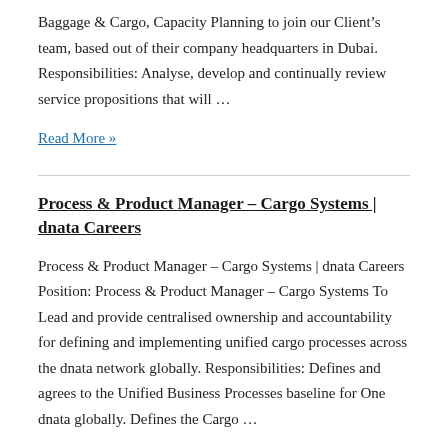Baggage & Cargo, Capacity Planning to join our Client's team, based out of their company headquarters in Dubai. Responsibilities: Analyse, develop and continually review service propositions that will ...
Read More »
Process & Product Manager – Cargo Systems | dnata Careers
Process & Product Manager – Cargo Systems | dnata Careers Position: Process & Product Manager – Cargo Systems To Lead and provide centralised ownership and accountability for defining and implementing unified cargo processes across the dnata network globally. Responsibilities: Defines and agrees to the Unified Business Processes baseline for One dnata globally. Defines the Cargo ...
Read More »